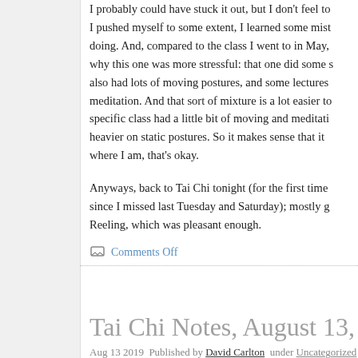I probably could have stuck it out, but I don't feel to... I pushed myself to some extent, I learned some mist... doing. And, compared to the class I went to in May, ... why this one was more stressful: that one did some s... also had lots of moving postures, and some lectures... meditation. And that sort of mixture is a lot easier to... specific class had a little bit of moving and meditatio... heavier on static postures. So it makes sense that it w... where I am, that's okay.
Anyways, back to Tai Chi tonight (for the first time ... since I missed last Tuesday and Saturday); mostly g... Reeling, which was pleasant enough.
Comments Off
Tai Chi Notes, August 13, 2019
Aug 13 2019 Published by David Carlton under Uncategorized
I got back from my trip on Tuesday evening; I skinn...